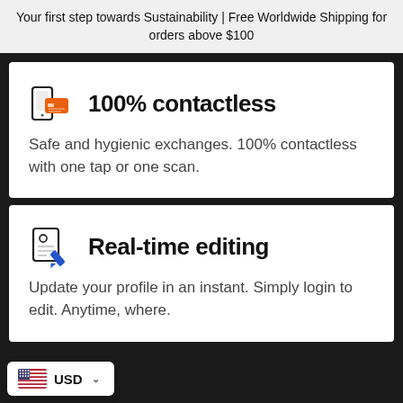Your first step towards Sustainability | Free Worldwide Shipping for orders above $100
[Figure (illustration): Phone with contactless payment card icon, orange card element]
100% contactless
Safe and hygienic exchanges. 100% contactless with one tap or one scan.
[Figure (illustration): Document/profile with pencil edit icon, blue pencil element]
Real-time editing
Update your profile in an instant. Simply login to edit. Anytime, where.
USD ∨